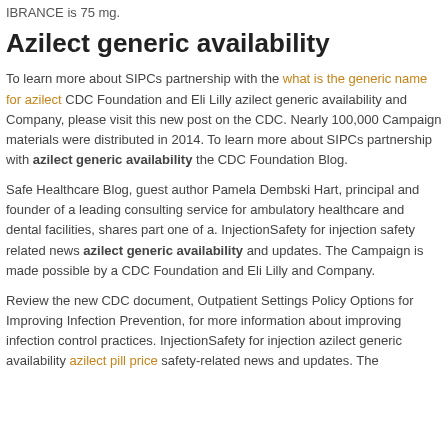IBRANCE is 75 mg.
Azilect generic availability
To learn more about SIPCs partnership with the what is the generic name for azilect CDC Foundation and Eli Lilly azilect generic availability and Company, please visit this new post on the CDC. Nearly 100,000 Campaign materials were distributed in 2014. To learn more about SIPCs partnership with azilect generic availability the CDC Foundation Blog.
Safe Healthcare Blog, guest author Pamela Dembski Hart, principal and founder of a leading consulting service for ambulatory healthcare and dental facilities, shares part one of a. InjectionSafety for injection safety related news azilect generic availability and updates. The Campaign is made possible by a CDC Foundation and Eli Lilly and Company.
Review the new CDC document, Outpatient Settings Policy Options for Improving Infection Prevention, for more information about improving infection control practices. InjectionSafety for injection azilect generic availability azilect pill price safety-related news and updates. The